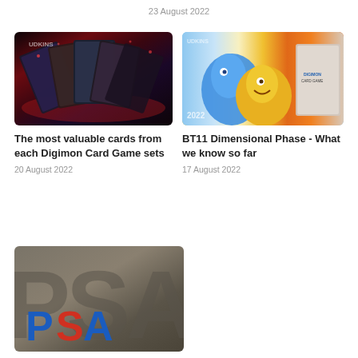23 August 2022
[Figure (photo): Fan of Digimon trading cards spread out against a dark red glowing background]
[Figure (photo): Digimon BT11 Dimensional Phase card game booster box art featuring Digimon characters on colorful background]
The most valuable cards from each Digimon Card Game sets
20 August 2022
BT11 Dimensional Phase - What we know so far
17 August 2022
[Figure (photo): PSA logo on a dark grey textured background with large watermark letters]